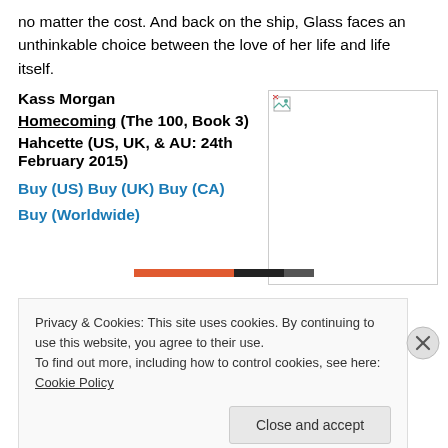no matter the cost. And back on the ship, Glass faces an unthinkable choice between the love of her life and life itself.
Kass Morgan
Homecoming (The 100, Book 3)
Hahcette (US, UK, & AU: 24th February 2015)
Buy (US) Buy (UK) Buy (CA) Buy (Worldwide)
[Figure (photo): Book cover image placeholder (broken image icon shown)]
Privacy & Cookies: This site uses cookies. By continuing to use this website, you agree to their use.
To find out more, including how to control cookies, see here: Cookie Policy
Close and accept